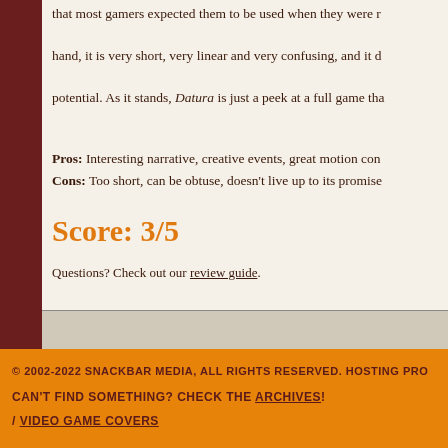that most gamers expected them to be used when they were released. On the other hand, it is very short, very linear and very confusing, and it doesn't live up to its potential. As it stands, Datura is just a peek at a full game that could have been.
Pros: Interesting narrative, creative events, great motion controls
Cons: Too short, can be obtuse, doesn't live up to its promise
Score: 3/5
Questions? Check out our review guide.
© 2002-2022 SNACKBAR MEDIA, ALL RIGHTS RESERVED. HOSTING PRO...
CAN'T FIND SOMETHING? CHECK THE ARCHIVES!
/ VIDEO GAME COVERS